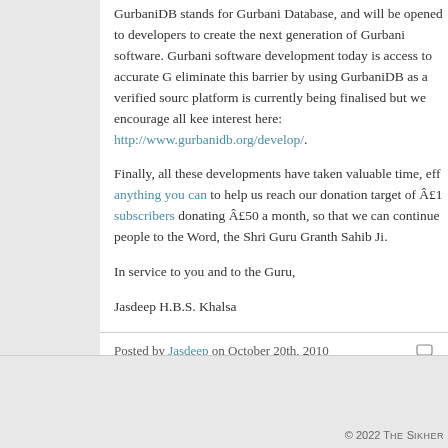GurbaniDB stands for Gurbani Database, and will be opened to developers to create the next generation of Gurbani software. Gurbani software development today is access to accurate G... eliminate this barrier by using GurbaniDB as a verified source... platform is currently being finalised but we encourage all kee... interest here: http://www.gurbanidb.org/develop/.
Finally, all these developments have taken valuable time, eff... anything you can to help us reach our donation target of £1... subscribers donating £50 a month, so that we can continue... people to the Word, the Shri Guru Granth Sahib Ji.
In service to you and to the Guru,
Jasdeep H.B.S. Khalsa
Posted by Jasdeep on October 20th, 2010
© 2022 The Sikher...